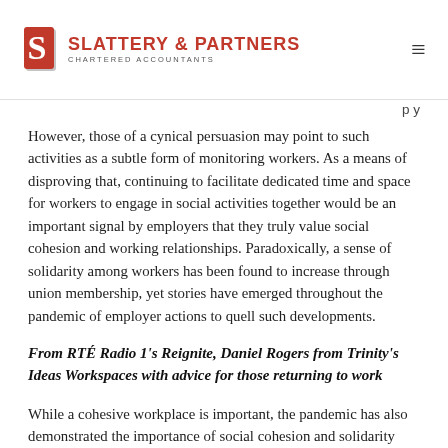Slattery & Partners Chartered Accountants
However, those of a cynical persuasion may point to such activities as a subtle form of monitoring workers. As a means of disproving that, continuing to facilitate dedicated time and space for workers to engage in social activities together would be an important signal by employers that they truly value social cohesion and working relationships. Paradoxically, a sense of solidarity among workers has been found to increase through union membership, yet stories have emerged throughout the pandemic of employer actions to quell such developments.
From RTÉ Radio 1's Reignite, Daniel Rogers from Trinity's Ideas Workspaces with advice for those returning to work
While a cohesive workplace is important, the pandemic has also demonstrated the importance of social cohesion and solidarity more generally. Plans around returning to work dominate the news right now, but it's important to remember that this